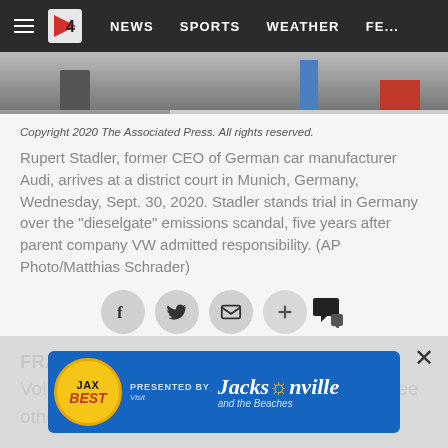NEWS  SPORTS  WEATHER  FE...
[Figure (photo): Partial photo strip showing people at a courthouse, cropped view of legs and background]
Copyright 2020 The Associated Press. All rights reserved.
Rupert Stadler, former CEO of German car manufacturer Audi, arrives at a district court in Munich, Germany, Wednesday, Sept. 30, 2020. Stadler stands trial in Germany over the "dieselgate" emissions scandal, five years after parent company VW admitted responsibility. (AP Photo/Matthias Schrader)
[Figure (infographic): Social sharing buttons: Facebook, Twitter, email/envelope, plus/add, and comment bubble icons]
FRANKFURT – The former head of Volkswagen's Audi luxury car division and three others went on trial
[Figure (other): JAX BEST presented by Visit Jacksonville and the Beaches advertisement banner]